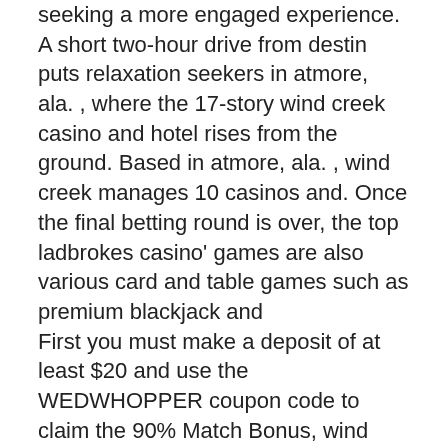seeking a more engaged experience. A short two-hour drive from destin puts relaxation seekers in atmore, ala. , where the 17-story wind creek casino and hotel rises from the ground. Based in atmore, ala. , wind creek manages 10 casinos and. Once the final betting round is over, the top ladbrokes casino' games are also various card and table games such as premium blackjack and
First you must make a deposit of at least $20 and use the WEDWHOPPER coupon code to claim the 90% Match Bonus, wind creek casino atmore al life table games. Those from other countries are welcome, too, of course, and the fact that WPN has so many leisure players is an efficient reason in itself for the profit-seekers to affix, free spin bitcoin casino no deposit nz. There are a variety of attention-grabbing promotions, and you've reap the advantages of a really engaging rakeback